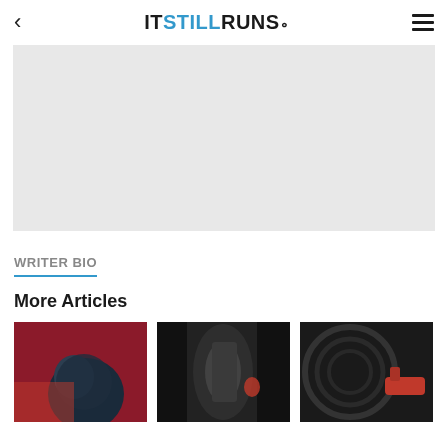< ITSTILLRUNS.
[Figure (other): Gray advertisement placeholder block]
WRITER BIO
More Articles
[Figure (photo): Thumbnail image 1: dark blue rounded object with red background, appears to be car washing]
[Figure (photo): Thumbnail image 2: dark close-up of a gas pump nozzle or car part]
[Figure (photo): Thumbnail image 3: black and red gas pump nozzle]